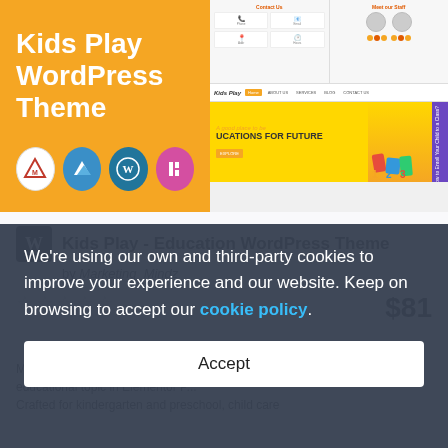[Figure (screenshot): Kids Play WordPress Theme product banner with orange background, white title text 'Kids Play WordPress Theme', partner logos (Marketing Mindz, Summit, WordPress, Elementor), and a mock browser screenshot showing the theme's website layout with navigation, hero section, and contact cards.]
Kids Play - Education WordPress Theme
by Marketing_Mindz
☆☆☆☆☆
$81
We're using our own and third-party cookies to improve your experience and our website. Keep on browsing to accept our cookie policy.
Accept
Marketing_Mindz will help you create a stylish website dedicated to educational topic in Elementor P... Crafted for kindergarten and preschool, child care